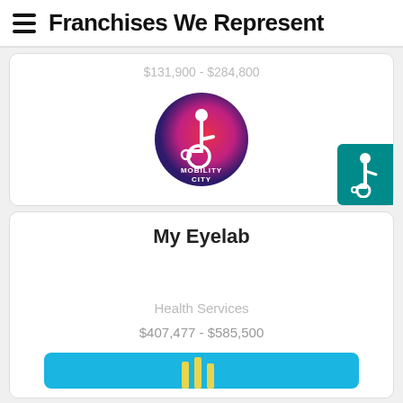Franchises We Represent
$131,900 - $284,800
[Figure (logo): Mobility City circular logo — gradient red to purple circle with wheelchair icon and text MOBILITY CITY]
[Figure (illustration): Teal accessibility icon showing person in wheelchair]
My Eyelab
Health Services
$407,477 - $585,500
[Figure (illustration): Blue button bar with yellow vertical bars]